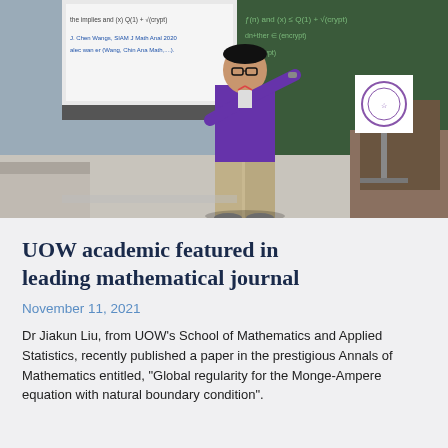[Figure (photo): A man in a purple t-shirt standing at the front of a classroom, pointing at a projection screen displaying mathematical content, with a chalkboard visible in the background and a university logo on a stand to the right.]
UOW academic featured in leading mathematical journal
November 11, 2021
Dr Jiakun Liu, from UOW's School of Mathematics and Applied Statistics, recently published a paper in the prestigious Annals of Mathematics entitled, "Global regularity for the Monge-Ampere equation with natural boundary condition".